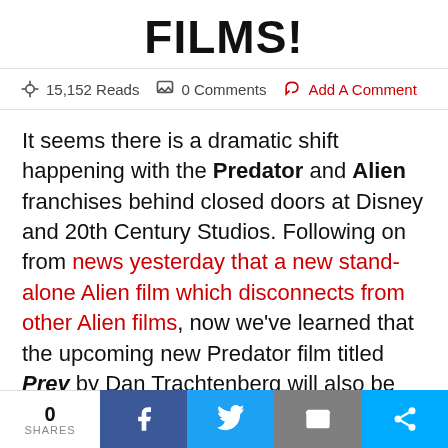FILMS!
15,152 Reads  0 Comments  Add A Comment
It seems there is a dramatic shift happening with the Predator and Alien franchises behind closed doors at Disney and 20th Century Studios. Following on from news yesterday that a new stand-alone Alien film which disconnects from other Alien films, now we've learned that the upcoming new Predator film titled Prey by Dan Trachtenberg will also be taking the franchise in a dramatically new direction.
0 SHARES  [Facebook] [Twitter] [Email] [Share]